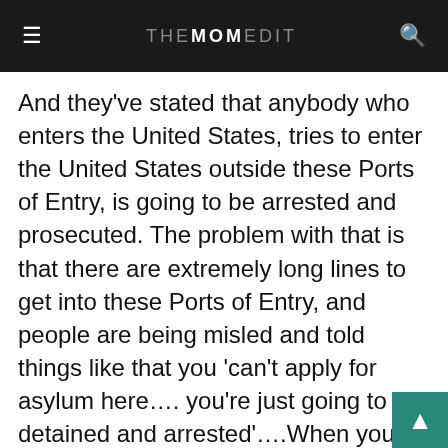THE MOM EDIT
And they've stated that anybody who enters the United States, tries to enter the United States outside these Ports of Entry, is going to be arrested and prosecuted. The problem with that is that there are extremely long lines to get into these Ports of Entry, and people are being misled and told things like that you 'can't apply for asylum here…. you're just going to be detained and arrested'….When you are forcing people to try to go around those Ports of Entry and apply….We're hearing reports of people just crossing the Rio Grande looking for (and this is what was happening before) you would look for a Customs and Border Patrol officer and ask for asylum right there—that was the generally